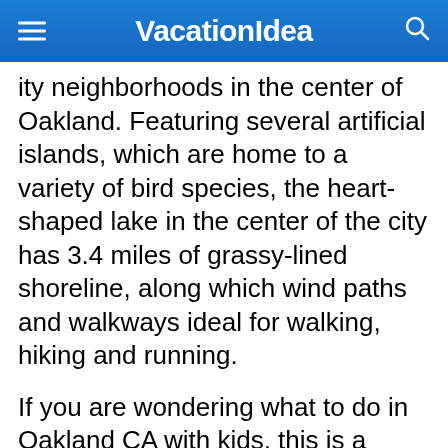VacationIdea
ity neighborhoods in the center of Oakland. Featuring several artificial islands, which are home to a variety of bird species, the heart-shaped lake in the center of the city has 3.4 miles of grassy-lined shoreline, along which wind paths and walkways ideal for walking, hiking and running.
If you are wondering what to do in Oakland CA with kids, this is a great place to visit. The lake features a modern boating center where rowboats, canoes and sailboats can be rented and sailing classes can be enjoyed, a themed